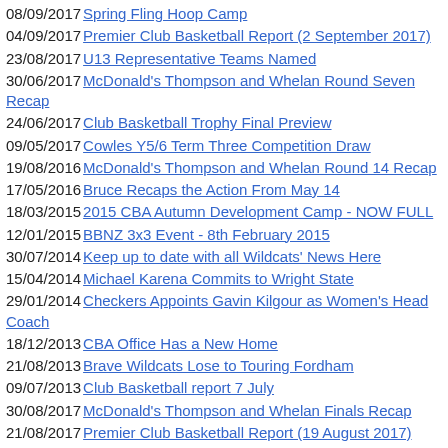08/09/2017 Spring Fling Hoop Camp
04/09/2017 Premier Club Basketball Report (2 September 2017)
23/08/2017 U13 Representative Teams Named
30/06/2017 McDonald's Thompson and Whelan Round Seven Recap
24/06/2017 Club Basketball Trophy Final Preview
09/05/2017 Cowles Y5/6 Term Three Competition Draw
19/08/2016 McDonald's Thompson and Whelan Round 14 Recap
17/05/2016 Bruce Recaps the Action From May 14
18/03/2015 2015 CBA Autumn Development Camp - NOW FULL
12/01/2015 BBNZ 3x3 Event - 8th February 2015
30/07/2014 Keep up to date with all Wildcats' News Here
15/04/2014 Michael Karena Commits to Wright State
29/01/2014 Checkers Appoints Gavin Kilgour as Women's Head Coach
18/12/2013 CBA Office Has a New Home
21/08/2013 Brave Wildcats Lose to Touring Fordham
09/07/2013 Club Basketball report 7 July
30/08/2017 McDonald's Thompson and Whelan Finals Recap
21/08/2017 Premier Club Basketball Report (19 August 2017)